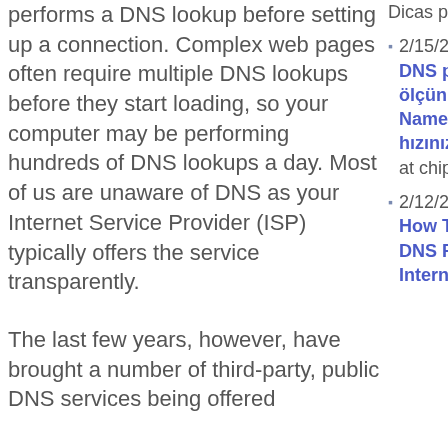performs a DNS lookup before setting up a connection. Complex web pages often require multiple DNS lookups before they start loading, so your computer may be performing hundreds of DNS lookups a day. Most of us are unaware of DNS as your Internet Service Provider (ISP) typically offers the service transparently.
The last few years, however, have brought a number of third-party, public DNS services being offered
Dicas para computador
2/15/2013: DNS performansını ölçün, optimize edin! NameBench, DNS hızınızı optimize etme at chip.com.tr
2/12/2013: How To Optimize Your DNS For Faster Internet